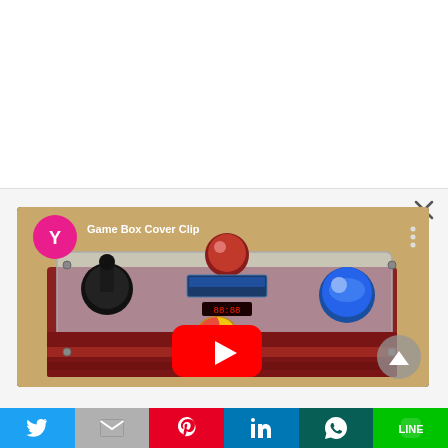[Figure (screenshot): Screenshot of a webpage showing a YouTube video embed titled 'Game Box Cover Clip' featuring a custom game box with colorful arcade buttons (red, blue, yellow) and a clear acrylic top with electronics visible inside. The video has a YouTube play button overlay. Below the channel icon (pink circle with Y) is the video title. A three-dot menu appears top right of video. A round gray navigate-up arrow appears bottom right of video thumbnail.]
[Figure (screenshot): Bottom social media share bar with six buttons: Twitter (blue bird), Gmail (gray M), Pinterest (red P), LinkedIn (blue in), WhatsApp (dark teal phone), LINE (green icon).]